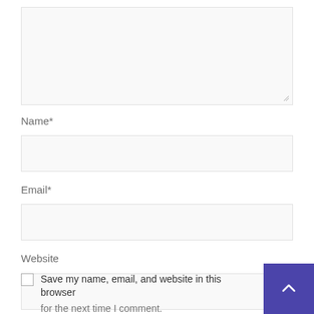[Figure (screenshot): Textarea input box with resize handle at bottom right]
Name*
[Figure (screenshot): Name text input field]
Email*
[Figure (screenshot): Email text input field]
Website
[Figure (screenshot): Website text input field]
[Figure (screenshot): Purple scroll-to-top button with upward chevron arrow]
Save my name, email, and website in this browser for the next time I comment.